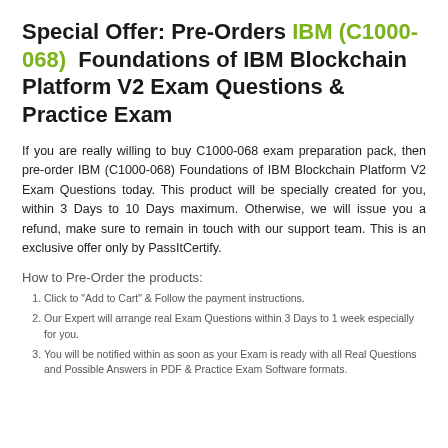Special Offer: Pre-Orders IBM (C1000-068) Foundations of IBM Blockchain Platform V2 Exam Questions & Practice Exam
If you are really willing to buy C1000-068 exam preparation pack, then pre-order IBM (C1000-068) Foundations of IBM Blockchain Platform V2 Exam Questions today. This product will be specially created for you, within 3 Days to 10 Days maximum. Otherwise, we will issue you a refund, make sure to remain in touch with our support team. This is an exclusive offer only by PassItCertify.
How to Pre-Order the products:
Click to "Add to Cart" & Follow the payment instructions.
Our Expert will arrange real Exam Questions within 3 Days to 1 week especially for you.
You will be notified within as soon as your Exam is ready with all Real Questions and Possible Answers in PDF & Practice Exam Software formats.